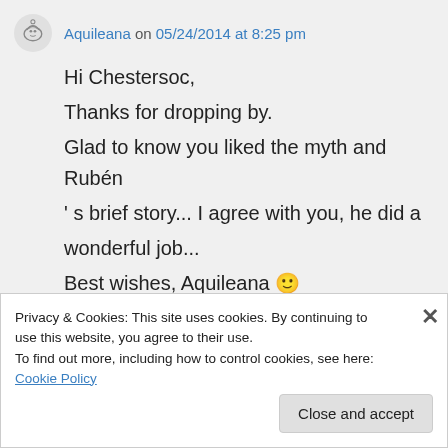Aquileana on 05/24/2014 at 8:25 pm
Hi Chestersoc,
Thanks for dropping by.
Glad to know you liked the myth and Rubén
' s brief story... I agree with you, he did a wonderful job...
Best wishes, Aquileana 🙂
↳ Reply
Privacy & Cookies: This site uses cookies. By continuing to use this website, you agree to their use.
To find out more, including how to control cookies, see here: Cookie Policy
Close and accept